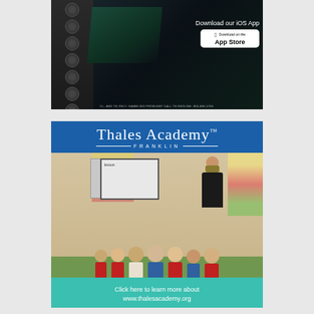[Figure (photo): Dark-themed mobile app advertisement with rotary dial/slots on left, green diagonal accent, text 'Download our iOS App' with App Store button, disclaimer '21+ AND TN ONLY. GAMBLING PROBLEM? CALL TN REDLINE: 800-889-9789.']
[Figure (photo): Thales Academy Franklin advertisement with blue header showing school name in serif font, classroom photo with teacher pointing at whiteboard and young students seated on floor in uniforms, teal footer with 'Click here to learn more about www.thalesacademy.org']